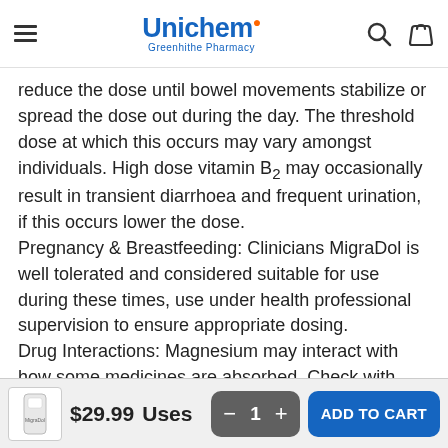Unichem Greenhithe Pharmacy
reduce the dose until bowel movements stabilize or spread the dose out during the day. The threshold dose at which this occurs may vary amongst individuals. High dose vitamin B2 may occasionally result in transient diarrhoea and frequent urination, if this occurs lower the dose. Pregnancy & Breastfeeding: Clinicians MigraDol is well tolerated and considered suitable for use during these times, use under health professional supervision to ensure appropriate dosing. Drug Interactions: Magnesium may interact with how some medicines are absorbed. Check with your health care professional.
$29.99  Uses  1  ADD TO CART